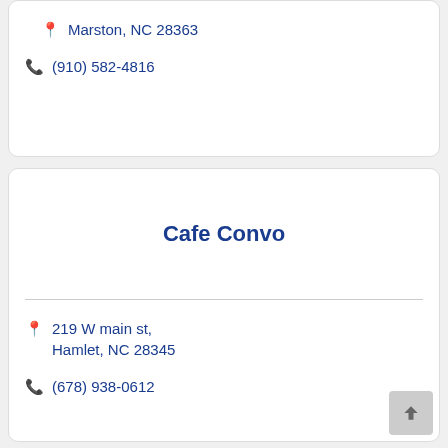Marston, NC 28363
(910) 582-4816
Cafe Convo
219 W main st, Hamlet, NC 28345
(678) 938-0612